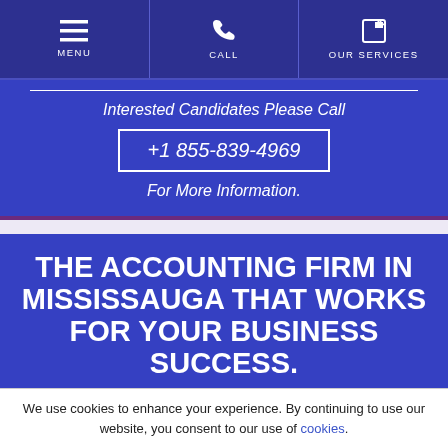MENU | CALL | OUR SERVICES
Interested Candidates Please Call
+1 855-839-4969
For More Information.
THE ACCOUNTING FIRM IN MISSISSAUGA THAT WORKS FOR YOUR BUSINESS SUCCESS.
Strength in numbers starts here in Mississauga, ON.
Commitment, integrity, it all adds up t…
We use cookies to enhance your experience. By continuing to use our website, you consent to our use of cookies.